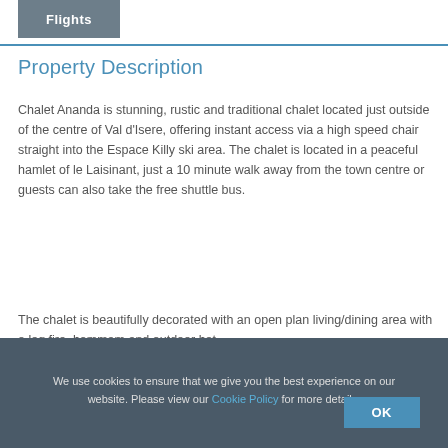Flights
Property Description
Chalet Ananda is stunning, rustic and traditional chalet located just outside of the centre of Val d'Isere, offering instant access via a high speed chair straight into the Espace Killy ski area. The chalet is located in a peaceful hamlet of le Laisinant, just a 10 minute walk away from the town centre or guests can also take the free shuttle bus.
The chalet is beautifully decorated with an open plan living/dining area with a log fire, hammam and outdoor hot
We use cookies to ensure that we give you the best experience on our website. Please view our Cookie Policy for more details. OK